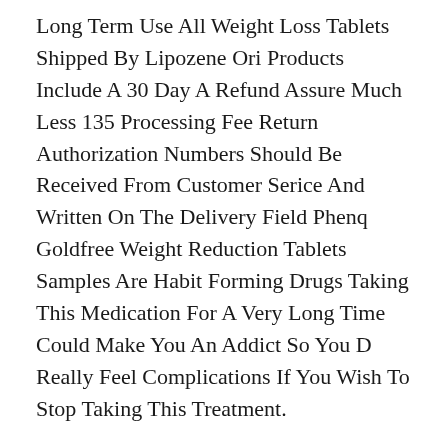Long Term Use All Weight Loss Tablets Shipped By Lipozene Ori Products Include A 30 Day A Refund Assure Much Less 135 Processing Fee Return Authorization Numbers Should Be Received From Customer Serice And Written On The Delivery Field Phenq Goldfree Weight Reduction Tablets Samples Are Habit Forming Drugs Taking This Medication For A Very Long Time Could Make You An Addict So You D Really Feel Complications If You Wish To Stop Taking This Treatment.
We Kept An Eye Fixed Out For Companies That Use Extra Refined Ingredients Like 5 Htp Or Saffron To Alter Neurochemistry And, Probably, Restore A Standard Urge For Food Lose weight with And Satiety Response Studies Present Many Medical Doctors Tend To Overestimate The Quantity Of Weight Reduction Brought On By These